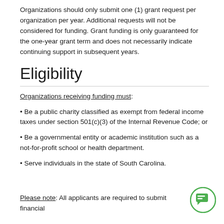Organizations should only submit one (1) grant request per organization per year. Additional requests will not be considered for funding. Grant funding is only guaranteed for the one-year grant term and does not necessarily indicate continuing support in subsequent years.
Eligibility
Organizations receiving funding must:
Be a public charity classified as exempt from federal income taxes under section 501(c)(3) of the Internal Revenue Code; or
Be a governmental entity or academic institution such as a not-for-profit school or health department.
Serve individuals in the state of South Carolina.
Please note: All applicants are required to submit financial